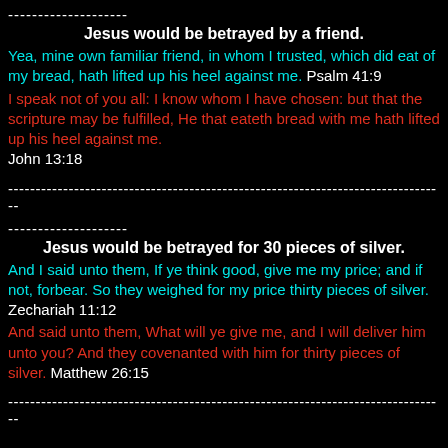--------------------
Jesus would be betrayed by a friend.
Yea, mine own familiar friend, in whom I trusted, which did eat of my bread, hath lifted up his heel against me. Psalm 41:9
I speak not of you all: I know whom I have chosen: but that the scripture may be fulfilled, He that eateth bread with me hath lifted up his heel against me. John 13:18
--------------------------------------------------------------------------------
--------------------
Jesus would be betrayed for 30 pieces of silver.
And I said unto them, If ye think good, give me my price; and if not, forbear. So they weighed for my price thirty pieces of silver. Zechariah 11:12
And said unto them, What will ye give me, and I will deliver him unto you? And they covenanted with him for thirty pieces of silver. Matthew 26:15
--------------------------------------------------------------------------------